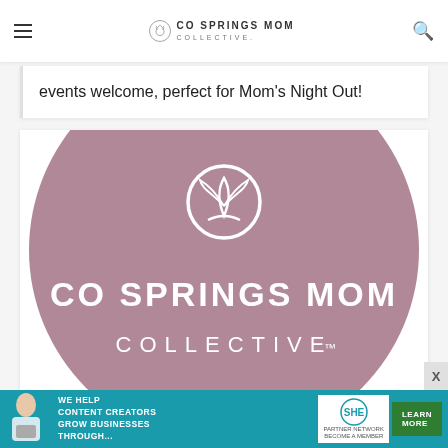CO SPRINGS MOM COLLECTIVE
events welcome, perfect for Mom's Night Out!
[Figure (logo): Co Springs Mom Collective logo: mauve/dusty rose circle with white tulip/lotus icon above text 'CO SPRINGS MOM' and 'COLLECTIVE' in white lettering]
[Figure (infographic): SHE Media partner network advertisement banner: teal background, woman with laptop photo, 'WE HELP CONTENT CREATORS GROW BUSINESSES THROUGH...' text, SHE Partner Network logo, green 'LEARN MORE' button]